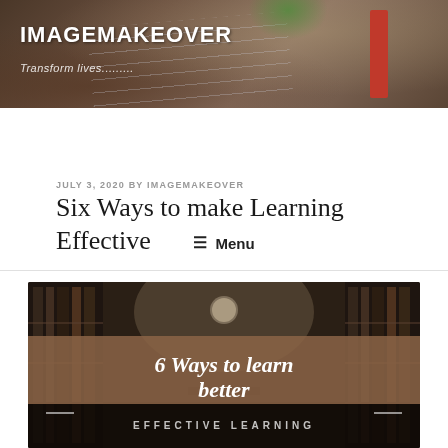IMAGEMAKEOVER
Transform lives........
≡ Menu
JULY 3, 2020 BY IMAGEMAKEOVER
Six Ways to make Learning Effective
[Figure (photo): Library interior with bookshelves and a clock, overlaid with text '6 Ways to learn better' and 'EFFECTIVE LEARNING' on a brown/dark background]